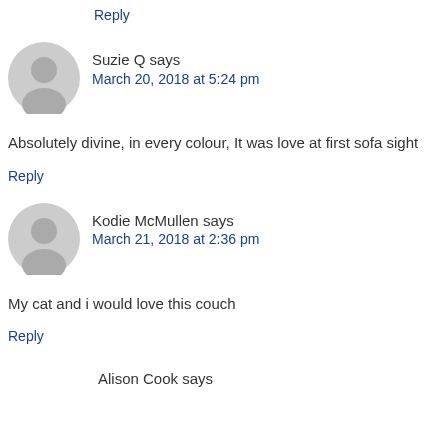Reply
Suzie Q says
March 20, 2018 at 5:24 pm
Absolutely divine, in every colour, It was love at first sofa sight
Reply
Kodie McMullen says
March 21, 2018 at 2:36 pm
My cat and i would love this couch
Reply
Alison Cook says